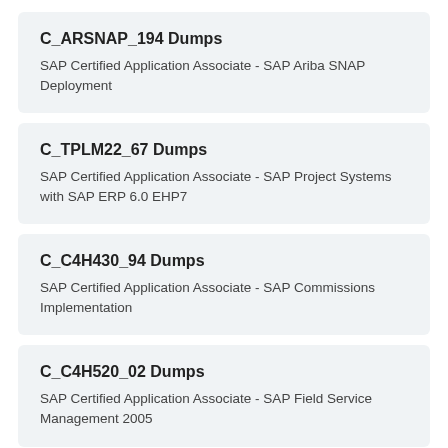C_ARSNAP_194 Dumps
SAP Certified Application Associate - SAP Ariba SNAP Deployment
C_TPLM22_67 Dumps
SAP Certified Application Associate - SAP Project Systems with SAP ERP 6.0 EHP7
C_C4H430_94 Dumps
SAP Certified Application Associate - SAP Commissions Implementation
C_C4H520_02 Dumps
SAP Certified Application Associate - SAP Field Service Management 2005
C_TB1200_10 Dumps